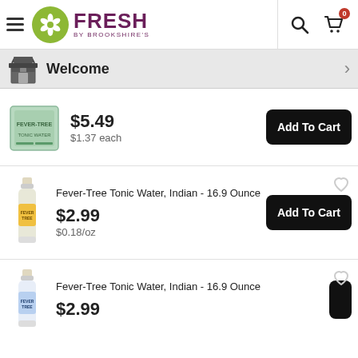Fresh by Brookshire's — navigation header with search and cart (0 items)
Welcome
[Figure (photo): Product image: Fever-Tree tonic water 4-pack box (green packaging)]
$5.49
$1.37 each
Add To Cart
Fever-Tree Tonic Water, Indian - 16.9 Ounce
[Figure (photo): Product image: Fever-Tree Tonic Water bottle (yellow label, 16.9 oz)]
$2.99
$0.18/oz
Add To Cart
Fever-Tree Tonic Water, Indian - 16.9 Ounce
[Figure (photo): Product image: Fever-Tree Tonic Water bottle (light blue label, 16.9 oz)]
$2.99